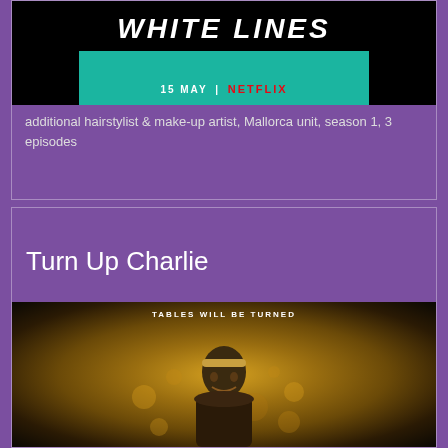[Figure (photo): White Lines Netflix show promotional banner - 15 MAY | NETFLIX on teal/black background]
additional hairstylist & make-up artist, Mallorca unit, season 1, 3 episodes
Turn Up Charlie
Netflix Series
[Figure (photo): Turn Up Charlie Netflix series promotional image - TABLES WILL BE TURNED text, person with headband in front of bokeh lights background]